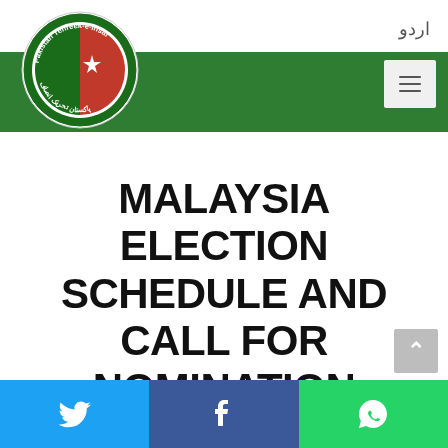[Figure (logo): Pakistan Tehreek-e-Insaf circular logo with green, red and white crescent and star design]
اردو
MALAYSIA ELECTION SCHEDULE AND CALL FOR NOMINATION
[Figure (infographic): Social media share bar with Twitter (blue), Facebook (dark blue), and WhatsApp (green) icons at the bottom of the page]